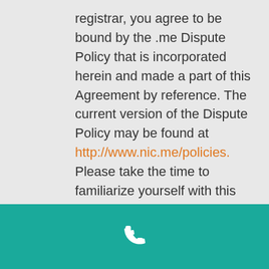registrar, you agree to be bound by the .me Dispute Policy that is incorporated herein and made a part of this Agreement by reference. The current version of the Dispute Policy may be found at http://www.nic.me/policies. Please take the time to familiarize yourself with this policy.
.tel Domains. In the case of a .tel registration, the following terms and conditions shall apply:
[Figure (illustration): White telephone handset icon on teal/green background footer bar]